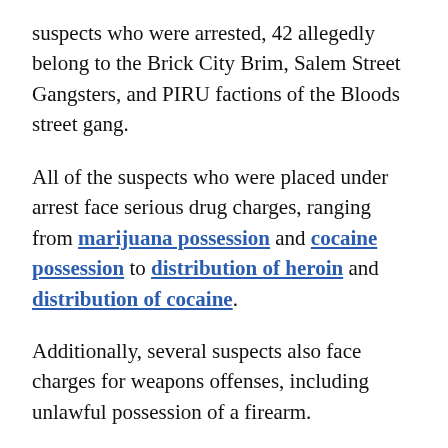suspects who were arrested, 42 allegedly belong to the Brick City Brim, Salem Street Gangsters, and PIRU factions of the Bloods street gang.
All of the suspects who were placed under arrest face serious drug charges, ranging from marijuana possession and cocaine possession to distribution of heroin and distribution of cocaine.
Additionally, several suspects also face charges for weapons offenses, including unlawful possession of a firearm.
East Orange and Newark police officers also seized marijuana, heroin, and crack cocaine when making the arrests. The estimated street value of the illegal drugs is roughly $54,000. Police officers also reportedly seized 7 weapons, 11 vehicles used to conduct the drug operation, and